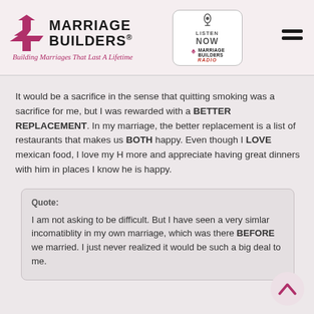[Figure (logo): Marriage Builders logo with red triangle icons and tagline 'Building Marriages That Last A Lifetime']
[Figure (logo): Listen Now Marriage Builders Radio badge]
It would be a sacrifice in the sense that quitting smoking was a sacrifice for me, but I was rewarded with a BETTER REPLACEMENT. In my marriage, the better replacement is a list of restaurants that makes us BOTH happy. Even though I LOVE mexican food, I love my H more and appreciate having great dinners with him in places I know he is happy.
Quote:

I am not asking to be difficult. But I have seen a very simlar incomatiblity in my own marriage, which was there BEFORE we married. I just never realized it would be such a big deal to me.